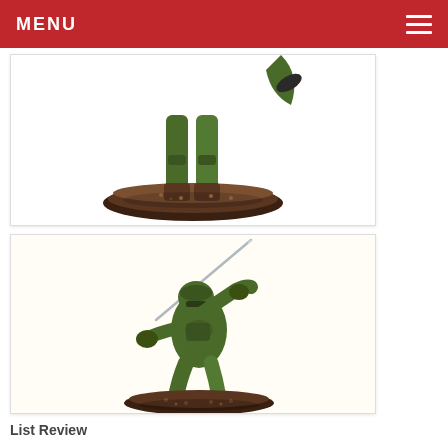MENU
[Figure (photo): Close-up of the lower body and base of a green painted miniature figure (tabletop wargame model) standing on a textured brown round base, white background.]
[Figure (photo): A green painted miniature figure (tabletop wargame model) in a dynamic sword-swinging pose, on a textured brown round base, white/cream background.]
List Review